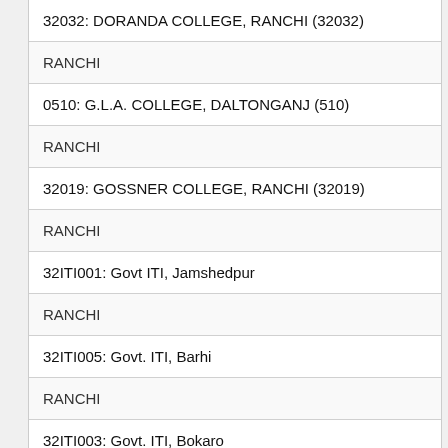32032: DORANDA COLLEGE, RANCHI (32032)
RANCHI
0510: G.L.A. COLLEGE, DALTONGANJ (510)
RANCHI
32019: GOSSNER COLLEGE, RANCHI (32019)
RANCHI
32ITI001: Govt ITI, Jamshedpur
RANCHI
32ITI005: Govt. ITI, Barhi
RANCHI
32ITI003: Govt. ITI, Bokaro